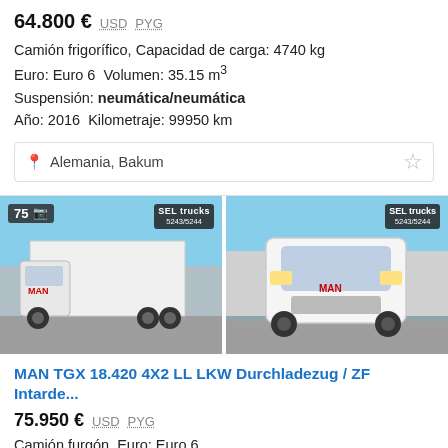64.800 € USD PYG
Camión frigorífico, Capacidad de carga: 4740 kg
Euro: Euro 6  Volumen: 35.15 m³
Suspensión: neumática/neumática
Año: 2016  Kilometraje: 99950 km
Alemania, Bakum
[Figure (photo): MAN TGX refrigerated truck side view, white, parked in a lot]
[Figure (photo): MAN TGX truck front view, white, parked at a logistics yard]
MAN TGX 18.420 4X2 LL LKW Durchladezug / ZF Intarde...
75.950 € USD PYG
Camión furgón, Euro: Euro 6